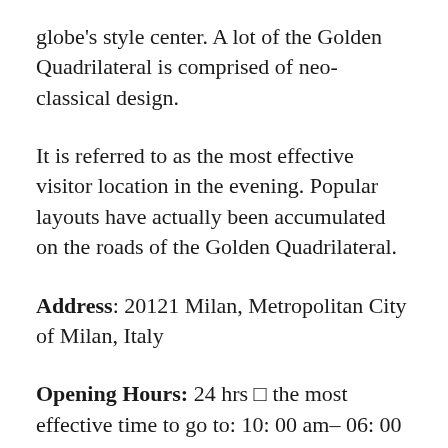globe's style center. A lot of the Golden Quadrilateral is comprised of neo-classical design.
It is referred to as the most effective visitor location in the evening. Popular layouts have actually been accumulated on the roads of the Golden Quadrilateral.
Address: 20121 Milan, Metropolitan City of Milan, Italy
Opening Hours: 24 hrs □ the most effective time to go to: 10: 00 am– 06: 00 pm